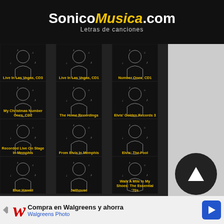SonicoMusica.com
Letras de canciones
[Figure (screenshot): Grid of Elvis Presley album covers with singer silhouette thumbnails. Row 1: Live In Las Vegas CD3, Live In Las Vegas CD1, My Christmas Number Ones CD1. Row 2: My Christmas Number Ones CD2, The Home Recordings, Elvis Golden Records 3. Row 3: Recorded Live On Stage In Memphis, From Elvis In Memphis, Elvis: The Fool. Row 4: Blue Hawaii, Jailhouse, Walk A Mile In My Shoes: The Essential 70s.]
[Figure (infographic): Advertisement banner: Compra en Walgreens y ahorra - Walgreens Photo with Walgreens logo and navigation arrow icon.]